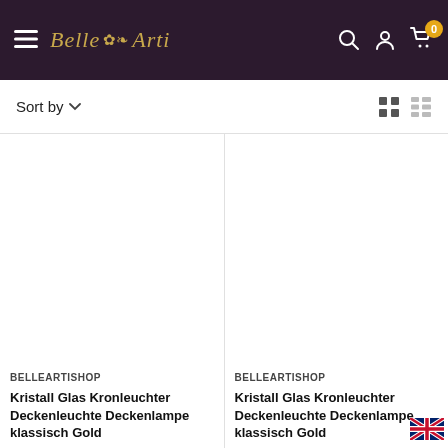Belle Arti — navigation header with hamburger menu, logo, search, account, cart (0)
Sort by
[Figure (screenshot): Empty product image placeholder, left column]
BELLEARTISHOP
Kristall Glas Kronleuchter Deckenleuchte Deckenlampe klassisch Gold
[Figure (screenshot): Empty product image placeholder, right column]
BELLEARTISHOP
Kristall Glas Kronleuchter Deckenleuchte Deckenlampe klassisch Gold